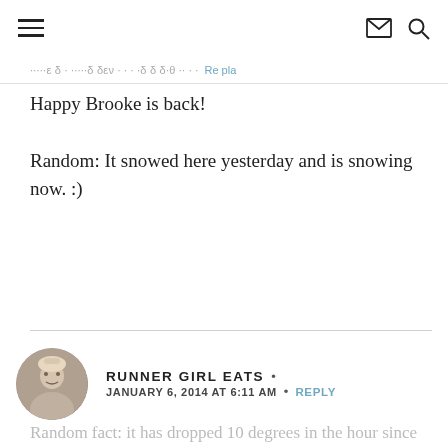Navigation header with hamburger menu, envelope icon, and search icon
Happy Brooke is back!
Random: It snowed here yesterday and is snowing now. :)
RUNNER GIRL EATS • JANUARY 6, 2014 AT 6:11 AM • REPLY
Random fact: it has dropped 10 degrees in the hour since I've left my house. Brrrrr.